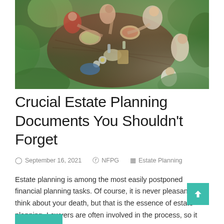[Figure (photo): Aerial view of a family gathering around an outdoor table with food and drinks, surrounded by greenery]
Crucial Estate Planning Documents You Shouldn't Forget
September 16, 2021   NFPG   Estate Planning
Estate planning is among the most easily postponed financial planning tasks. Of course, it is never pleasant to think about your death, but that is the essence of estate planning. Lawyers are often involved in the process, so it seems...